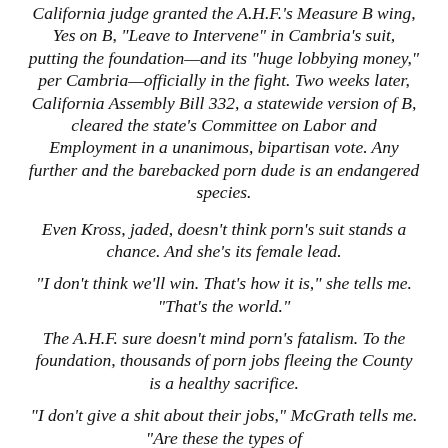California judge granted the A.H.F.'s Measure B wing, Yes on B, "Leave to Intervene" in Cambria's suit, putting the foundation—and its "huge lobbying money," per Cambria—officially in the fight. Two weeks later, California Assembly Bill 332, a statewide version of B, cleared the state's Committee on Labor and Employment in a unanimous, bipartisan vote. Any further and the barebacked porn dude is an endangered species.
Even Kross, jaded, doesn't think porn's suit stands a chance. And she's its female lead.
"I don't think we'll win. That's how it is," she tells me. "That's the world."
The A.H.F. sure doesn't mind porn's fatalism. To the foundation, thousands of porn jobs fleeing the County is a healthy sacrifice.
"I don't give a shit about their jobs," McGrath tells me. "Are these the types of